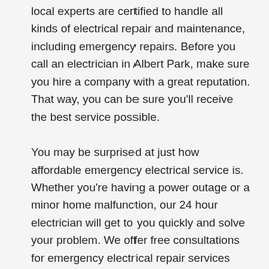local experts are certified to handle all kinds of electrical repair and maintenance, including emergency repairs. Before you call an electrician in Albert Park, make sure you hire a company with a great reputation. That way, you can be sure you'll receive the best service possible.
You may be surprised at just how affordable emergency electrical service is. Whether you're having a power outage or a minor home malfunction, our 24 hour electrician will get to you quickly and solve your problem. We offer free consultations for emergency electrical repair services and guarantee your satisfaction. We have electricians on call around the clock. If you need an electrical repair, you can call a reliable 24-hour service to get the job done.
Emergency electricians can assist with basic electrical problems, such as power outages, and are able to fix most common household electrical issues quickly. But if you're experiencing a major electrical problem, it may be best to call an electrician. It